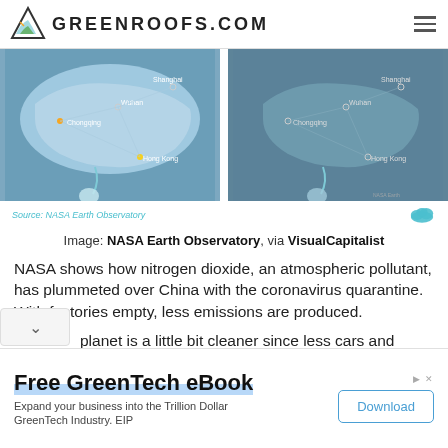GREENROOFS.COM
[Figure (map): Two side-by-side satellite maps of China showing nitrogen dioxide levels, with cities labeled: Chongqing, Wuhan, Shanghai, Hong Kong. Left map shows higher pollution (blue haze), right map shows reduced pollution.]
Source: NASA Earth Observatory
Image: NASA Earth Observatory, via VisualCapitalist
NASA shows how nitrogen dioxide, an atmospheric pollutant, has plummeted over China with the coronavirus quarantine. With factories empty, less emissions are produced.
planet is a little bit cleaner since less cars and trucks
Free GreenTech eBook
Expand your business into the Trillion Dollar GreenTech Industry. EIP